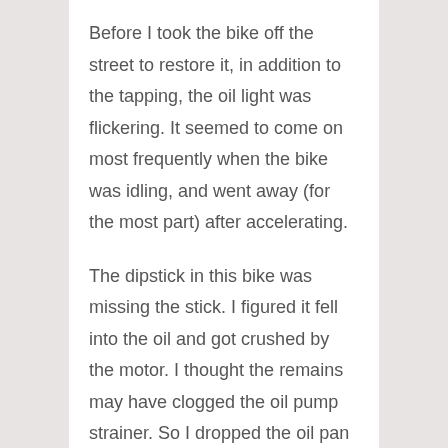Before I took the bike off the street to restore it, in addition to the tapping, the oil light was flickering. It seemed to come on most frequently when the bike was idling, and went away (for the most part) after accelerating.
The dipstick in this bike was missing the stick. I figured it fell into the oil and got crushed by the motor. I thought the remains may have clogged the oil pump strainer. So I dropped the oil pan to check it out.